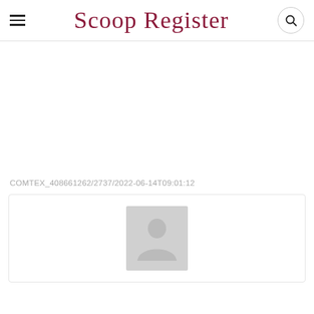Scoop Register
COMTEX_408661262/2737/2022-06-14T09:01:12
[Figure (illustration): Author avatar placeholder showing a generic person silhouette on a grey background inside a bordered box]